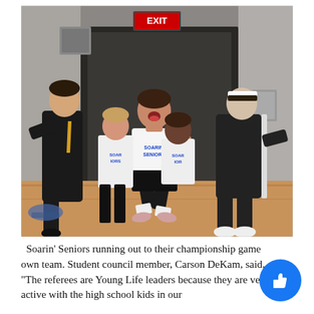[Figure (photo): A group of young women in white 'Soarin' Seniors' shirts burst through a doorway with excitement, arms pumping and mouths open, flanked by two people in black athletic wear. An EXIT sign glows red above the door in a gymnasium setting.]
Soarin' Seniors running out to their championship game own team. Student council member, Carson DeKam, said, "The referees are Young Life leaders because they are very active with the high school kids in our